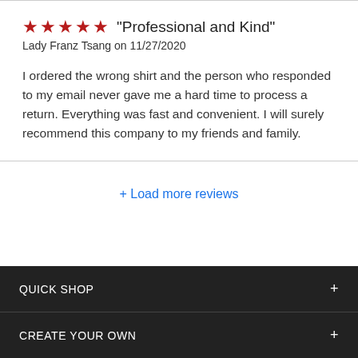★★★★★ "Professional and Kind"
Lady Franz Tsang on 11/27/2020
I ordered the wrong shirt and the person who responded to my email never gave me a hard time to process a return. Everything was fast and convenient. I will surely recommend this company to my friends and family.
+ Load more reviews
QUICK SHOP
CREATE YOUR OWN